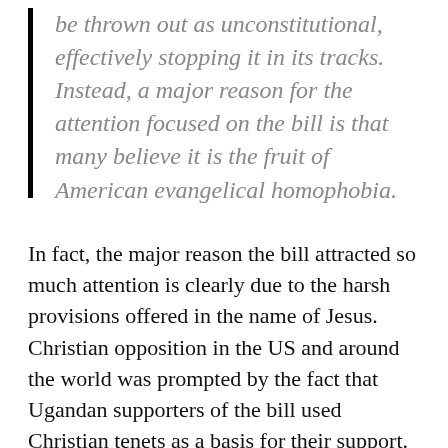be thrown out as unconstitutional, effectively stopping it in its tracks. Instead, a major reason for the attention focused on the bill is that many believe it is the fruit of American evangelical homophobia.
In fact, the major reason the bill attracted so much attention is clearly due to the harsh provisions offered in the name of Jesus. Christian opposition in the US and around the world was prompted by the fact that Ugandan supporters of the bill used Christian tenets as a basis for their support. Ugandan pastor Martin Ssempa told Christianity Today that Rick Warren was wrong to oppose the AHB. David